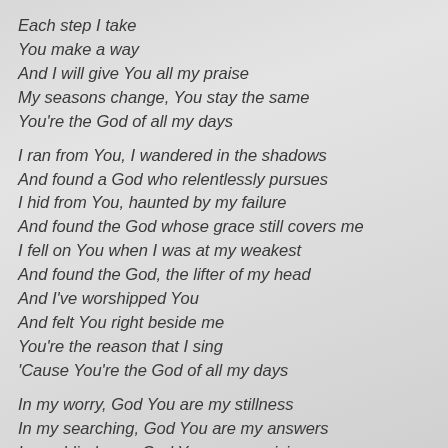Each step I take
You make a way
And I will give You all my praise
My seasons change, You stay the same
You're the God of all my days
I ran from You, I wandered in the shadows
And found a God who relentlessly pursues
I hid from You, haunted by my failure
And found the God whose grace still covers me
I fell on You when I was at my weakest
And found the God, the lifter of my head
And I've worshipped You
And felt You right beside me
You're the reason that I sing
'Cause You're the God of all my days
In my worry, God You are my stillness
In my searching, God You are my answers
In my blindness, God You are my vision
In my bondage, God You are my freedom